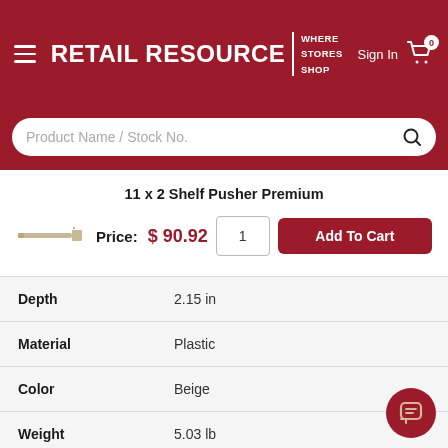RETAIL RESOURCE | WHERE STORES SHOP
11 x 2 Shelf Pusher Premium
Price: $90.92
| Attribute | Value |
| --- | --- |
| Depth | 2.15 in |
| Material | Plastic |
| Color | Beige |
| Weight | 5.03 lb |
| Features | Made in USA |
| Collection | Clear Modular System |